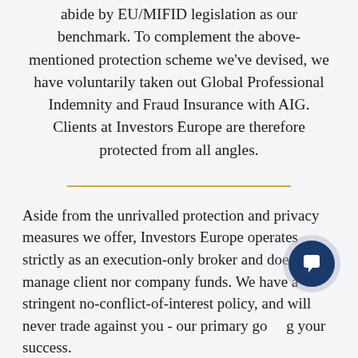abide by EU/MIFID legislation as our benchmark. To complement the above-mentioned protection scheme we've devised, we have voluntarily taken out Global Professional Indemnity and Fraud Insurance with AIG. Clients at Investors Europe are therefore protected from all angles.
[Figure (other): Gold horizontal divider line]
Aside from the unrivalled protection and privacy measures we offer, Investors Europe operates strictly as an execution-only broker and does not manage client nor company funds. We have a stringent no-conflict-of-interest policy, and will never trade against you - our primary goal is your success.
Benefit from our years of experience and trade with